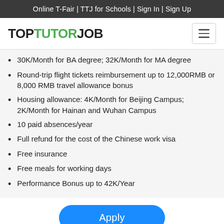Online T-Fair | TTJ for Schools | Sign In | Sign Up
TOP TUTOR JOB
30K/Month for BA degree; 32K/Month for MA degree
Round-trip flight tickets reimbursement up to 12,000RMB or 8,000 RMB travel allowance bonus
Housing allowance: 4K/Month for Beijing Campus; 2K/Month for Hainan and Wuhan Campus
10 paid absences/year
Full refund for the cost of the Chinese work visa
Free insurance
Free meals for working days
Performance Bonus up to 42K/Year
Apply